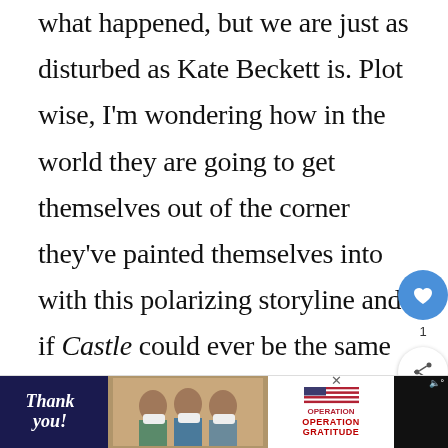what happened, but we are just as disturbed as Kate Beckett is. Plot wise, I'm wondering how in the world they are going to get themselves out of the corner they've painted themselves into with this polarizing storyline and if Castle could ever be the same going forward? This plot twist is not completely new, but it does provide a plethora of possibilities for the future of the franchise. This quandary could take them all the way through to the end of the season, if they can risk stretching the rubber band of believably without br... cut out
[Figure (screenshot): Advertisement banner at bottom: Operation Gratitude thank you ad with photo of nurses in masks holding boxes]